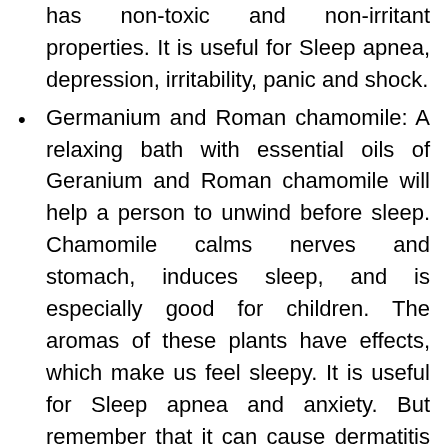has non-toxic and non-irritant properties. It is useful for Sleep apnea, depression, irritability, panic and shock.
Germanium and Roman chamomile: A relaxing bath with essential oils of Geranium and Roman chamomile will help a person to unwind before sleep. Chamomile calms nerves and stomach, induces sleep, and is especially good for children. The aromas of these plants have effects, which make us feel sleepy. It is useful for Sleep apnea and anxiety. But remember that it can cause dermatitis in some people.
Valerian: Valerian is relaxing and sleep inducing, relieves spasms, calms the digestion, and lowers blood pressure. It can bring on a restful sleep without morning sleepiness or